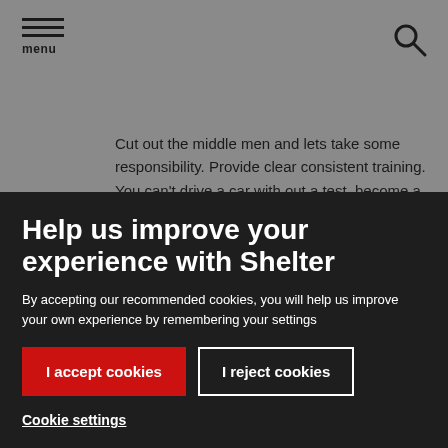menu
Cut out the middle men and lets take some responsibility. Provide clear consistent training. You can't drive a car with out a test, become a teacher with out going to university...even a hairdresser has to train. Educate, don't
Help us improve your experience with Shelter
By accepting our recommended cookies, you will help us improve your own experience by remembering your settings
I accept cookies
I reject cookies
Cookie settings